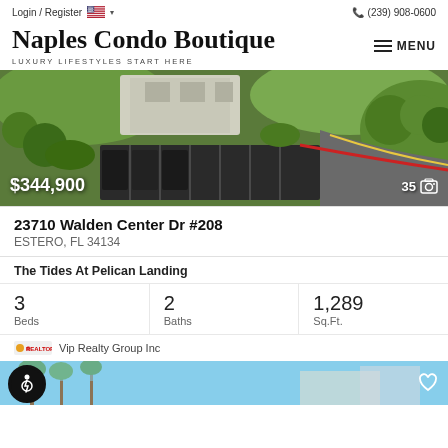Login / Register   (239) 908-0600
Naples Condo Boutique
LUXURY LIFESTYLES START HERE
[Figure (photo): Aerial view of a property with green landscape, driveway, and parking area]
$344,900
35 photos
23710 Walden Center Dr #208
ESTERO, FL 34134
The Tides At Pelican Landing
| Beds | Baths | Sq.Ft. |
| --- | --- | --- |
| 3 | 2 | 1,289 |
Vip Realty Group Inc
[Figure (photo): Partial view of another property listing with palm trees and blue sky]